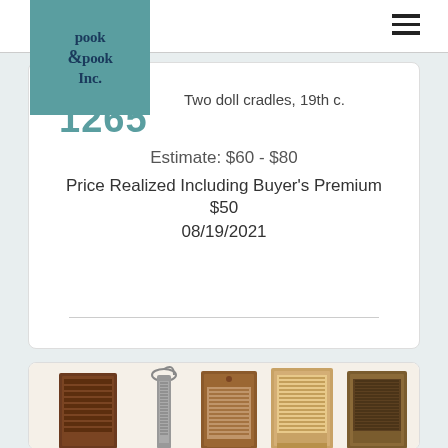Pook & Pook Inc.
1265
Two doll cradles, 19th c.
Estimate: $60 - $80
Price Realized Including Buyer's Premium
$50
08/19/2021
[Figure (photo): Five antique washboards displayed side by side, varying in size and construction, with wooden frames and different scrubbing surfaces.]